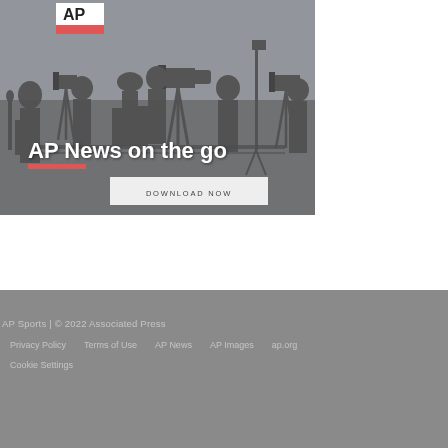[Figure (illustration): AP News promotional banner with silhouettes of journalists/cameramen against a gray background. AP logo (white rectangle with red bar) in upper left. Text 'AP News on the go' in white bold, red underline bar, and a 'DOWNLOAD NOW' button.]
AP Sports | © 2022 Associated Press
Privacy Policy   Terms of Use   AP News   AP Images   ap.org
Cookie Settings